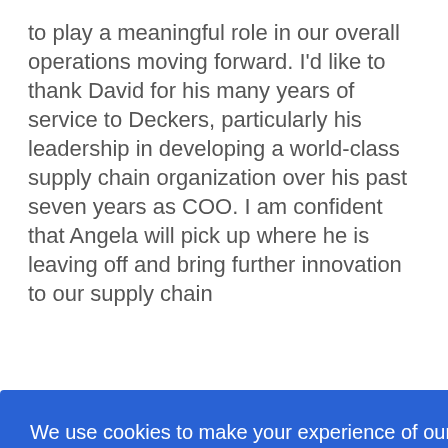to play a meaningful role in our overall operations moving forward. I'd like to thank David for his many years of service to Deckers, particularly his leadership in developing a world-class supply chain organization over his past seven years as COO. I am confident that Angela will pick up where he is leaving off and bring further innovation to our supply chain
[Figure (screenshot): Cookie consent overlay banner with blue background. Text reads: 'We use cookies to make your experience of our website better. To find out more about cookies, click here . By accepting this notice and continuing to browse our website you confirm you accept our Privacy Policy'. Below is an OK button on white background.]